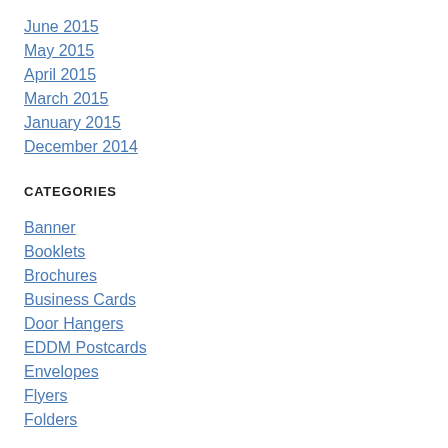June 2015
May 2015
April 2015
March 2015
January 2015
December 2014
CATEGORIES
Banner
Booklets
Brochures
Business Cards
Door Hangers
EDDM Postcards
Envelopes
Flyers
Folders